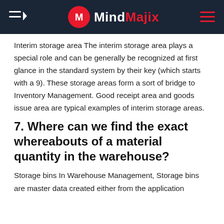MindMajix
Interim storage area The interim storage area plays a special role and can be generally be recognized at first glance in the standard system by their key (which starts with a 9). These storage areas form a sort of bridge to Inventory Management. Good receipt area and goods issue area are typical examples of interim storage areas.
7. Where can we find the exact whereabouts of a material quantity in the warehouse?
Storage bins In Warehouse Management, Storage bins are master data created either from the application